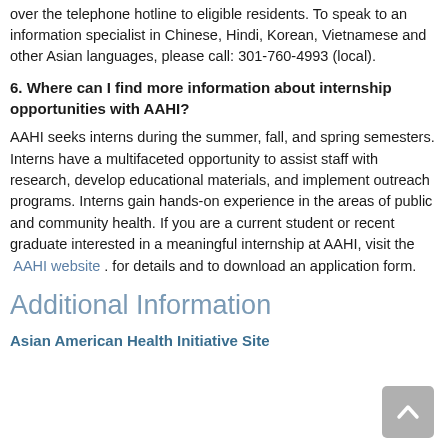over the telephone hotline to eligible residents. To speak to an information specialist in Chinese, Hindi, Korean, Vietnamese and other Asian languages, please call: 301-760-4993 (local).
6.  Where can I find more information about internship opportunities with AAHI?
AAHI seeks interns during the summer, fall, and spring semesters. Interns have a multifaceted opportunity to assist staff with research, develop educational materials, and implement outreach programs. Interns gain hands-on experience in the areas of public and community health. If you are a current student or recent graduate interested in a meaningful internship at AAHI, visit the  AAHI website . for details and to download an application form.
Additional Information
Asian American Health Initiative Site